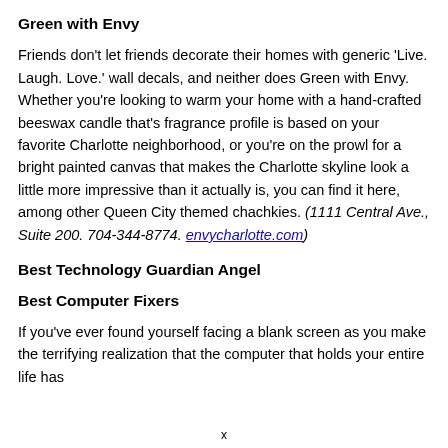Green with Envy
Friends don't let friends decorate their homes with generic 'Live. Laugh. Love.' wall decals, and neither does Green with Envy. Whether you're looking to warm your home with a hand-crafted beeswax candle that's fragrance profile is based on your favorite Charlotte neighborhood, or you're on the prowl for a bright painted canvas that makes the Charlotte skyline look a little more impressive than it actually is, you can find it here, among other Queen City themed chachkies. (1111 Central Ave., Suite 200. 704-344-8774. envycharlotte.com)
Best Technology Guardian Angel
Best Computer Fixers
If you've ever found yourself facing a blank screen as you make the terrifying realization that the computer that holds your entire life has
x